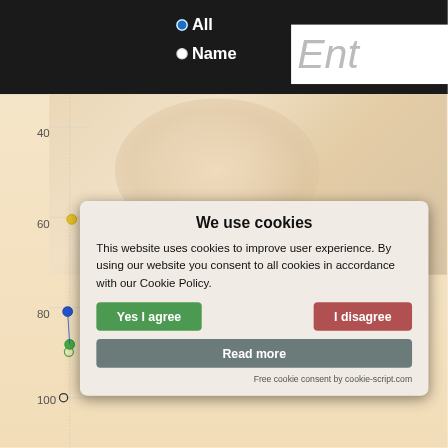[Figure (screenshot): Website UI screenshot showing a dark header with radio buttons for 'All' and 'Name' search options, a partial search input box labeled 'Ent', a background chart with y-axis labels (40, 60, 80, 100) showing data points in yellow, blue, and green, a baby photo background, and a cookie consent modal dialog in the foreground.]
We use cookies
This website uses cookies to improve user experience. By using our website you consent to all cookies in accordance with our Cookie Policy.
Yes I agree
I disagree
Read more
Free cookie consent by cookie-script.com